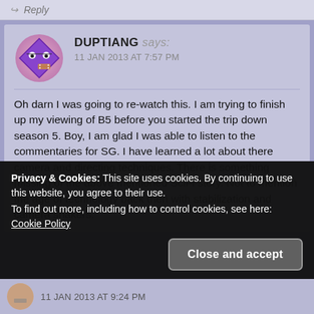Reply
DUPTIANG says: 11 JAN 2013 AT 7:57 PM
Oh darn I was going to re-watch this. I am trying to finish up my viewing of B5 before you started the trip down season 5. Boy, I am glad I was able to listen to the commentaries for SG. I have learned a lot about there camera and directing techniques. There is something missing of the above mentioned SciFi story. Not to mention the age of technology back then with stabilization and camera shakers.
Privacy & Cookies: This site uses cookies. By continuing to use this website, you agree to their use. To find out more, including how to control cookies, see here: Cookie Policy
Close and accept
11 JAN 2013 AT 9:24 PM